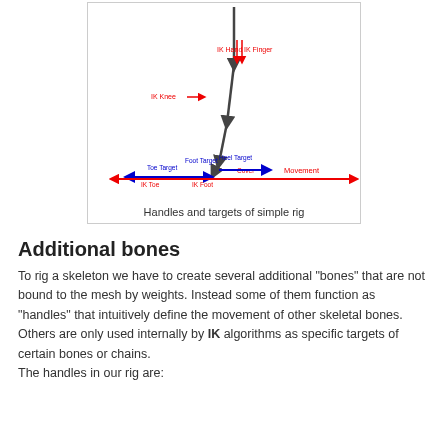[Figure (schematic): Diagram showing handles and targets of a simple rig: dark gray arrows representing bones/chains, red arrows labeled IK Hand, IK Finger, IK Knee, IK Toe, and blue arrows labeled Toe Target, Foot Target, Heel Target with red arrow labeled Cover and Movement.]
Handles and targets of simple rig
Additional bones
To rig a skeleton we have to create several additional "bones" that are not bound to the mesh by weights. Instead some of them function as "handles" that intuitively define the movement of other skeletal bones. Others are only used internally by IK algorithms as specific targets of certain bones or chains.
The handles in our rig are: